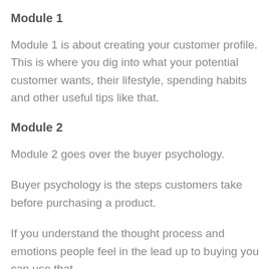Module 1
Module 1 is about creating your customer profile. This is where you dig into what your potential customer wants, their lifestyle, spending habits and other useful tips like that.
Module 2
Module 2 goes over the buyer psychology.
Buyer psychology is the steps customers take before purchasing a product.
If you understand the thought process and emotions people feel in the lead up to buying you can use that